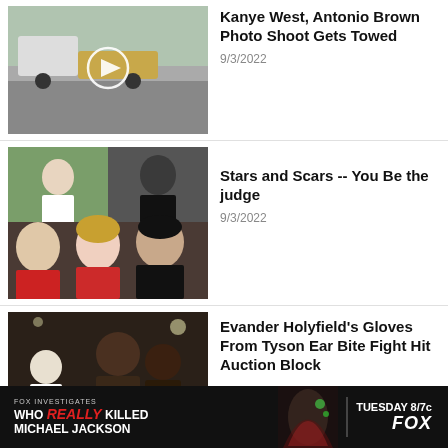[Figure (photo): Video thumbnail showing a vehicle being towed on a street with a play button overlay]
Kanye West, Antonio Brown Photo Shoot Gets Towed
9/3/2022
[Figure (photo): Collage photo of celebrities including Trump, Britney Spears, Madonna, Chris Rock, and tennis players]
Stars and Scars -- You Be the judge
9/3/2022
[Figure (photo): Boxing match photo showing Evander Holyfield and Mike Tyson in a clinch with referee]
Evander Holyfield's Gloves From Tyson Ear Bite Fight Hit Auction Block
[Figure (screenshot): Advertisement banner: WHO REALLY KILLED MICHAEL JACKSON - TUESDAY 8/7c FOX]